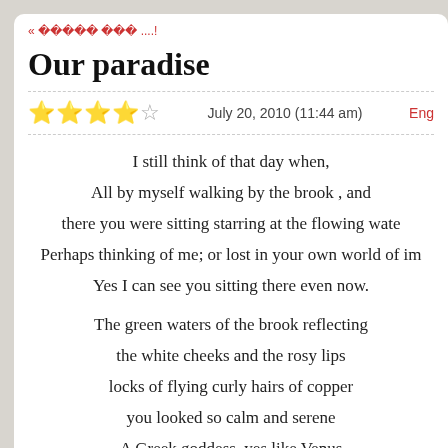« ????? ??? ....!
Our paradise
★★★★☆   July 20, 2010 (11:44 am)   Eng
I still think of that day when,
All by myself walking by the brook , and
there you were sitting starring at the flowing wate
Perhaps thinking of me; or lost in your own world of im
Yes I can see you sitting there even now.

The green waters of the brook reflecting
the white cheeks and the rosy lips
locks of flying curly hairs of copper
you looked so calm and serene
A Greek goddess, yes like Venus